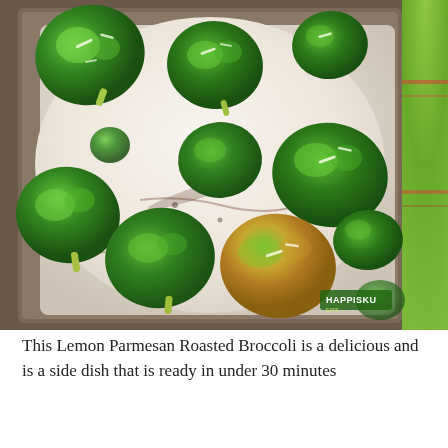[Figure (photo): Overhead photo of roasted broccoli florets with parmesan on parchment paper on a baking tray, with a green cloth napkin visible on the right side. A small green watermark/logo is visible in the bottom right corner of the photo.]
This Lemon Parmesan Roasted Broccoli is a delicious and is a side dish that is ready in under 30 minutes